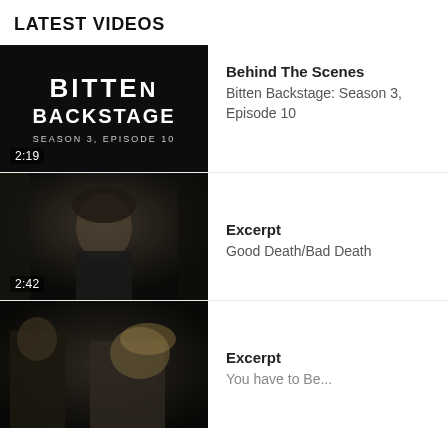LATEST VIDEOS
[Figure (screenshot): Bitten Backstage Season 3, Episode 10 video thumbnail with duration badge 2:19 on black background]
Behind The Scenes
Bitten Backstage: Season 3, Episode 10
[Figure (screenshot): Dark forest scene with man looking up, video thumbnail with duration badge 2:42]
Excerpt
Good Death/Bad Death
[Figure (screenshot): Two characters in dark scene, partial video thumbnail]
Excerpt